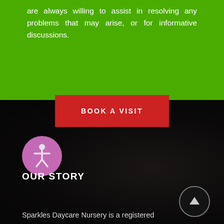are always willing to assist in resolving any problems that may arise, or for informative discussions.
BOOK A VISIT
[Figure (other): Dark background section with a child photo, pink accessibility icon circle with person figure, and a dark up-arrow circle button]
OUR STORY
Sparkles Daycare Nursery is a registered